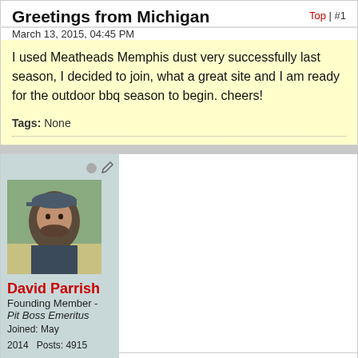Greetings from Michigan
March 13, 2015, 04:45 PM
I used Meatheads Memphis dust very successfully last season, I decided to join, what a great site and I am ready for the outdoor bbq season to begin. cheers!
Tags: None
[Figure (photo): Profile photo of David Parrish, a man with a cap outdoors]
David Parrish
Founding Member - Pit Boss Emeritus
Joined: May 2014   Posts: 4915
Location: Charlotte, NC
March 13, 2015, 04:49 PM
Welcome Dean! We're glad you're here.